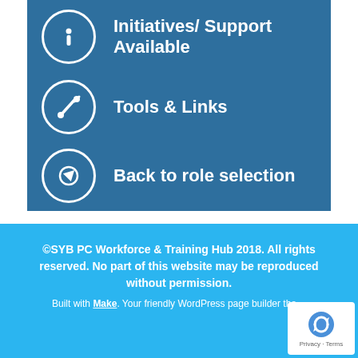Initiatives/ Support Available
Tools & Links
Back to role selection
©SYB PC Workforce & Training Hub 2018. All rights reserved. No part of this website may be reproduced without permission. Built with Make. Your friendly WordPress page builder the…